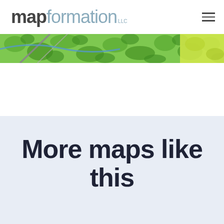mapformation LLC
[Figure (map): Horizontal strip showing a colorful map with green foliage/vegetation patterns, yellow areas, and grey road lines]
More maps like this